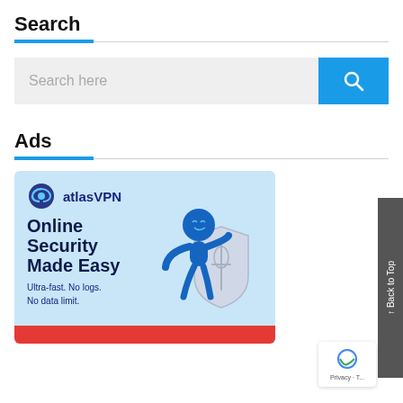Search
[Figure (screenshot): Search bar with a light gray input field labeled 'Search here' and a blue search button with magnifying glass icon on the right]
Ads
[Figure (illustration): AtlasVPN advertisement banner with light blue background, AtlasVPN logo, headline 'Online Security Made Easy', subtext 'Ultra-fast. No logs. No data limit.', a blue cartoon character holding a shield, and a red CTA button at the bottom]